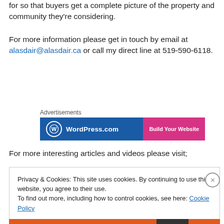for so that buyers get a complete picture of the property and community they're considering.
For more information please get in touch by email at alasdair@alasdair.ca or call my direct line at 519-590-6118.
[Figure (other): WordPress.com advertisement banner with blue background, WordPress logo, and 'Build Your Website' pink button]
For more interesting articles and videos please visit;
Privacy & Cookies: This site uses cookies. By continuing to use this website, you agree to their use.
To find out more, including how to control cookies, see here: Cookie Policy
Close and accept